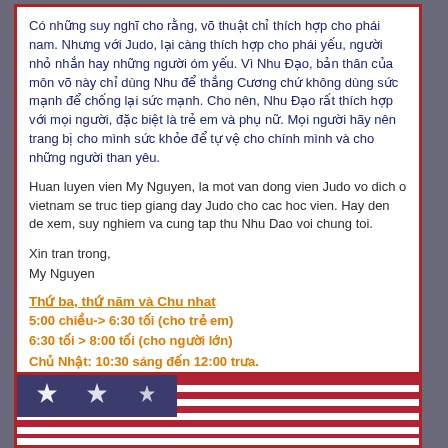Có những suy nghĩ cho rằng, võ thuật chỉ thích hợp cho phái nam. Nhưng với Judo, lại càng thích hợp cho phái yếu, người nhỏ nhắn hay những người óm yếu. Vì Nhu Đạo, bản thân của môn võ này chỉ dùng Nhu để thắng Cương chứ không dùng sức mạnh để chống lại sức mạnh. Cho nên, Nhu Đạo rất thích hợp với mọi người, đặc biệt là trẻ em và phụ nữ. Mọi người hãy nên trang bị cho mình sức khỏe để tự vệ cho chính mình và cho những người than yêu.
Huan luyen vien My Nguyen, la mot van dong vien Judo vo dich o vietnam se truc tiep giang day Judo cho cac hoc vien. Hay den de xem, suy nghiem va cung tap thu Nhu Dao voi chung toi.
Xin tran trong,
My Nguyen
Thứ ba, thứ năm và Chu nhat
5:00 chiều-> 6:30 tối (cho trẻ em)
6:30 tối > 8:00 tối (cho người lớn)
Chủ Nhật: 10:30 sáng đến 12:00 trưa.
[Figure (illustration): American flag with blue canton containing white stars and red and white stripes]